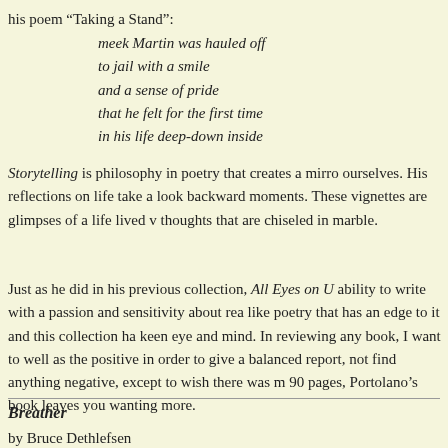his poem “Taking a Stand”:
meek Martin was hauled off
to jail with a smile
and a sense of pride
that he felt for the first time
in his life deep-down inside
Storytelling is philosophy in poetry that creates a mirror of ourselves. His reflections on life take a look backward moments. These vignettes are glimpses of a life lived with thoughts that are chiseled in marble.
Just as he did in his previous collection, All Eyes on US, ability to write with a passion and sensitivity about real like poetry that has an edge to it and this collection has keen eye and mind. In reviewing any book, I want to c well as the positive in order to give a balanced report, b not find anything negative, except to wish there was mo 90 pages, Portolano’s book leaves you wanting more.
Breather
by Bruce Dethlefsen
83 pages, $15 (U.S.)
Fire Weed Press
Check or MO to:
Bruce Dethlefsen
422 Lawrence Street
Westfield, WI 53964